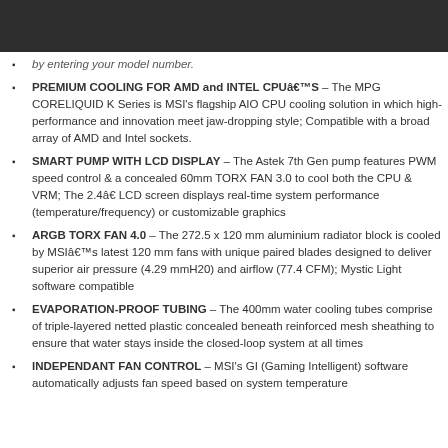by entering your model number.
PREMIUM COOLING FOR AMD and INTEL CPUâS – The MPG CORELIQUID K Series is MSI's flagship AIO CPU cooling solution in which high-performance and innovation meet jaw-dropping style; Compatible with a broad array of AMD and Intel sockets.
SMART PUMP WITH LCD DISPLAY – The Astek 7th Gen pump features PWM speed control & a concealed 60mm TORX FAN 3.0 to cool both the CPU & VRM; The 2.4â LCD screen displays real-time system performance (temperature/frequency) or customizable graphics
ARGB TORX FAN 4.0 – The 272.5 x 120 mm aluminium radiator block is cooled by MSIâs latest 120 mm fans with unique paired blades designed to deliver superior air pressure (4.29 mmH20) and airflow (77.4 CFM); Mystic Light software compatible
EVAPORATION-PROOF TUBING – The 400mm water cooling tubes comprise of triple-layered netted plastic concealed beneath reinforced mesh sheathing to ensure that water stays inside the closed-loop system at all times
INDEPENDANT FAN CONTROL – MSI's GI (Gaming Intelligent) software automatically adjusts fan speed based on system temperature